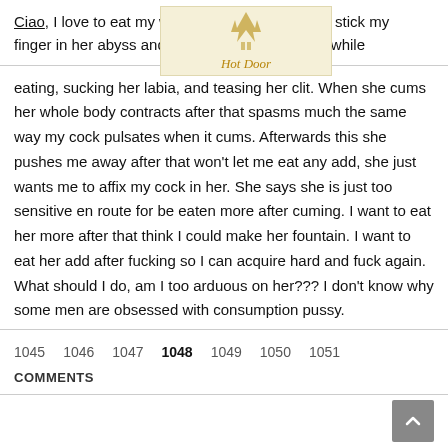Ciao, I love to eat my w[...] hen I do this I stick my finger in her abyss and [...] oof of her pussy while
[Figure (logo): Hot Door logo with stylized deer/antler icon and italic text 'Hot Door' on cream background]
eating, sucking her labia, and teasing her clit. When she cums her whole body contracts after that spasms much the same way my cock pulsates when it cums. Afterwards this she pushes me away after that won't let me eat any add, she just wants me to affix my cock in her. She says she is just too sensitive en route for be eaten more after cuming. I want to eat her more after that think I could make her fountain. I want to eat her add after fucking so I can acquire hard and fuck again. What should I do, am I too arduous on her??? I don't know why some men are obsessed with consumption pussy.
1045  1046  1047  1048  1049  1050  1051
COMMENTS